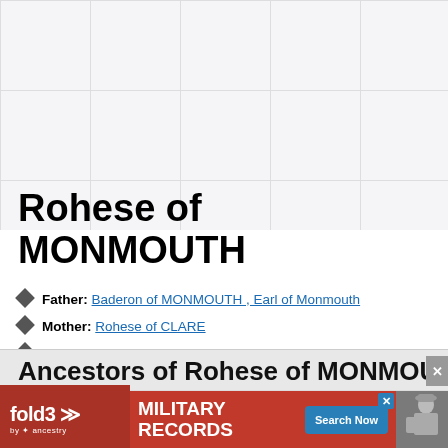Rohese of MONMOUTH
Father: Baderon of MONMOUTH , Earl of Monmouth
Mother: Rohese of CLARE
Death: (Date and Place unknown)
Partnership with: Hugo of MEATH , Lord Meath
Ancestors of Rohese of MONMOUTH
[Figure (screenshot): Fold3 by Ancestry military records advertisement banner at bottom of page]